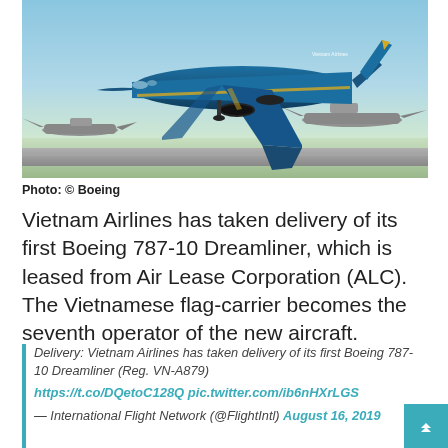[Figure (photo): Vietnam Airlines Boeing 787-10 Dreamliner taking off on a runway, with military cargo aircraft visible in the background. The plane is blue with gold livery.]
Photo: © Boeing
Vietnam Airlines has taken delivery of its first Boeing 787-10 Dreamliner, which is leased from Air Lease Corporation (ALC). The Vietnamese flag-carrier becomes the seventh operator of the new aircraft.
Delivery: Vietnam Airlines has taken delivery of its first Boeing 787-10 Dreamliner (Reg. VN-A879)
https://t.co/DQetoC128Q pic.twitter.com/ib6nHXrLGS
— International Flight Network (@FlightIntl) August 16, 2019